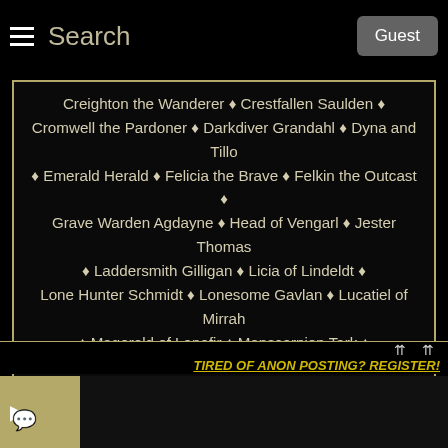Search  Guest
Creighton the Wanderer ♦ Crestfallen Saulden ♦ Cromwell the Pardoner ♦ Darkdiver Grandahl ♦ Dyna and Tillo ♦ Emerald Herald ♦ Felicia the Brave ♦ Felkin the Outcast ♦ Grave Warden Agdayne ♦ Head of Vengarl ♦ Jester Thomas ♦ Laddersmith Gilligan ♦ Licia of Lindeldt ♦ Lone Hunter Schmidt ♦ Lonesome Gavlan ♦ Lucatiel of Mirrah ♦ Magerold of Lanafir ♦ Manscorpion Tark ♦ Masterless Glencour ♦ Maughlin the Armourer ♦ Melinda the Butcher ♦ Merchant Hag Melentia ♦ Merciless Roenna ♦ Mild Mannered Pate ♦ Milfanito ♦ Milibeth
TIRED OF ANON POSTING? REGISTER!